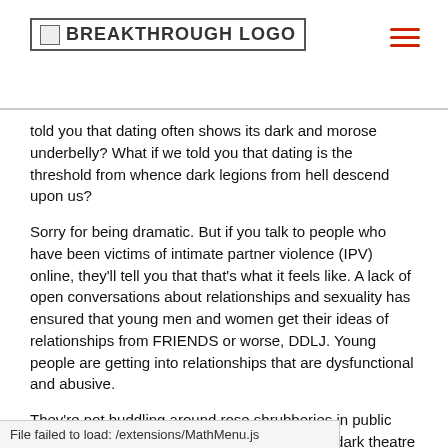BREAKTHROUGH LOGO
told you that dating often shows its dark and morose underbelly? What if we told you that dating is the threshold from whence dark legions from hell descend upon us?
Sorry for being dramatic. But if you talk to people who have been victims of intimate partner violence (IPV) online, they'll tell you that that's what it feels like. A lack of open conversations about relationships and sexuality has ensured that young men and women get their ideas of relationships from FRIENDS or worse, DDLJ. Young people are getting into relationships that are dysfunctional and abusive.
They're not huddling around rose shrubberies in public parks or trying to sneak a mischievous kiss in dark theatre halls. (Well, they kinda are but not as much). Their relationships live on Facebook messengers and tagged pictures and filtered Instagram photos. That's where they weave worlds, that's where they love and that's where they hurt each other. The old Bollywood trope of a shady
nady stalker guy with
File failed to load: /extensions/MathMenu.js